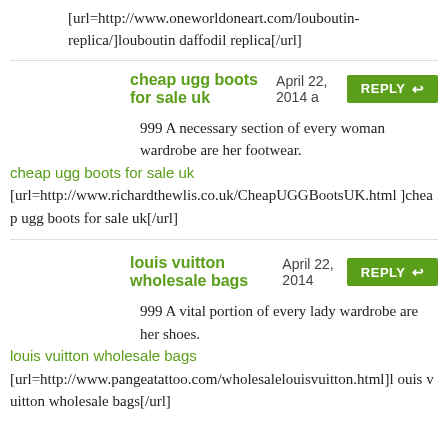[url=http://www.oneworldoneart.com/louboutin-replica/]louboutin daffodil replica[/url]
cheap ugg boots for sale uk April 22, 2014 a… REPLY
999 A necessary section of every woman wardrobe are her footwear.
cheap ugg boots for sale uk
[url=http://www.richardthewlis.co.uk/CheapUGGBootsUK.html]cheap ugg boots for sale uk[/url]
louis vuitton wholesale bags April 22, 2014 REPLY
999 A vital portion of every lady wardrobe are her shoes.
louis vuitton wholesale bags
[url=http://www.pangeatattoo.com/wholesalelouisvuitton.html]louis vuitton wholesale bags[/url]